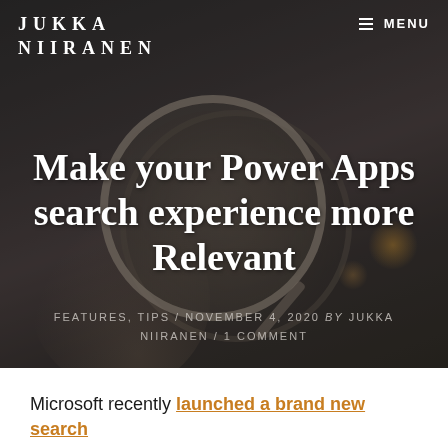JUKKA NIIRANEN / MENU
[Figure (photo): Dark background photo showing a hand holding a magnifying glass against a blurred city/bokeh background, used as hero image for the blog post]
Make your Power Apps search experience more Relevant
FEATURES, TIPS / NOVEMBER 4, 2020 by JUKKA NIIRANEN / 1 COMMENT
Microsoft recently launched a brand new search